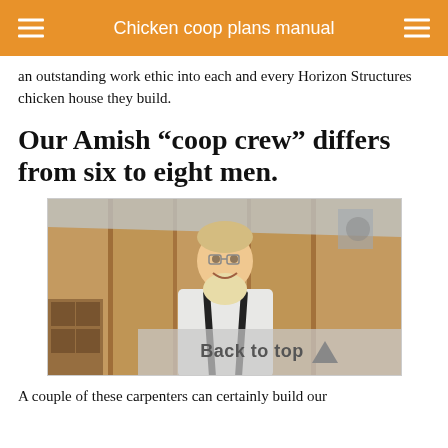Chicken coop plans manual
an outstanding work ethic into each and every Horizon Structures chicken house they build.
Our Amish “coop crew” differs from six to eight men.
[Figure (photo): An Amish man smiling inside a wooden chicken coop, wearing white shirt with black suspenders. A lantern hangs from the ceiling. Wooden walls and nesting boxes visible.]
Back to top
A couple of these carpenters can certainly build our